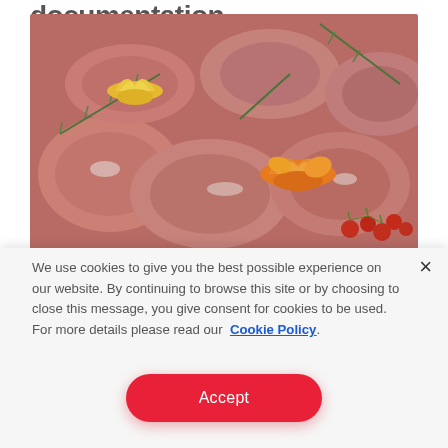documentation
[Figure (photo): A platter of assorted raw meat cuts—pork chops, sliced meats, and ribs—garnished with rosemary, cherry tomatoes, and decorative carved lemon and orange pieces.]
We use cookies to give you the best possible experience on our website. By continuing to browse this site or by choosing to close this message, you give consent for cookies to be used. For more details please read our Cookie Policy.
Accept